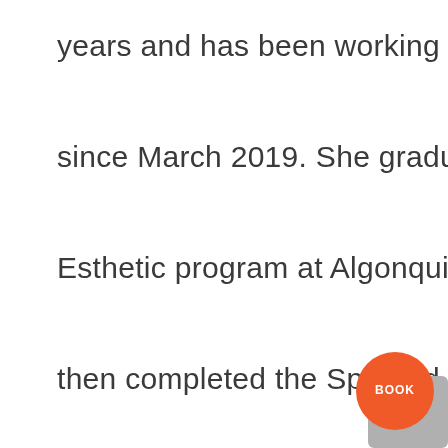years and has been working at Third Avenue since March 2019. She graduated from the Esthetic program at Algonquin College in 2018 then completed the Spa and Wellness Management Program. She recently completed her IPL Hair Removal and Photo Rejuvenation at Beaute Laser Ladouceur in Montreal.

When she's not busy greeting clients at the